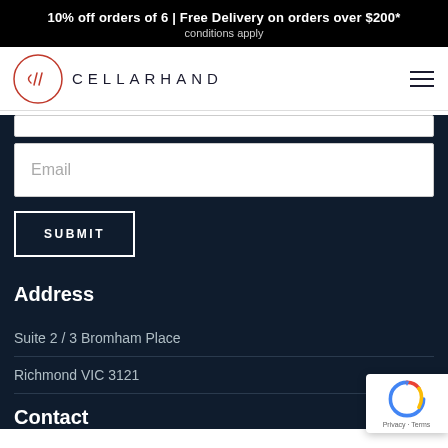10% off orders of 6 | Free Delivery on orders over $200* conditions apply
[Figure (logo): Cellarhand logo: circle with c// monogram and CELLARHAND text]
Email
SUBMIT
Address
Suite 2 / 3 Bromham Place
Richmond VIC 3121
Contact